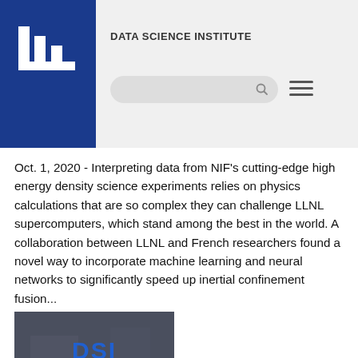DATA SCIENCE INSTITUTE
Oct. 1, 2020 - Interpreting data from NIF's cutting-edge high energy density science experiments relies on physics calculations that are so complex they can challenge LLNL supercomputers, which stand among the best in the world. A collaboration between LLNL and French researchers found a novel way to incorporate machine learning and neural networks to significantly speed up inertial confinement fusion...
[Figure (photo): DSI Data Science Institute logo on dark background with blurred building]
Advancing healthcare with data science (VIDEO)